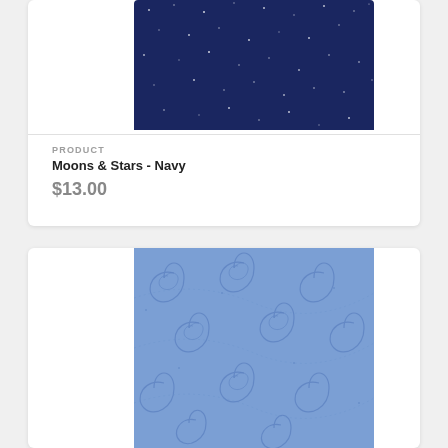[Figure (photo): Navy blue fabric with yellow crescent moons and stars pattern]
PRODUCT
Moons & Stars - Navy
$13.00
[Figure (photo): Light blue fabric with swirl/scroll pattern]